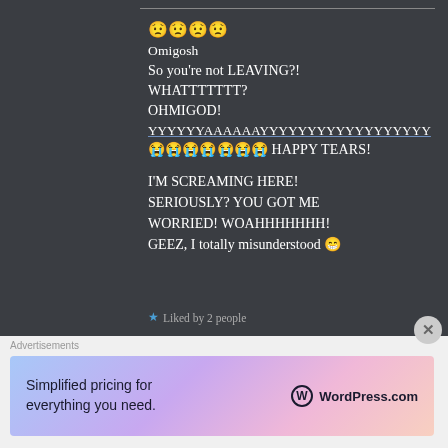😟😟😟😟
Omigosh
So you're not LEAVING?!
WHATTTTTTT?
OHMIGOD!
YYYYYYAAAAAAAAYYYYYYYYYYYYYYYYYYYY
😭😭😭😭😭😭😭 HAPPY TEARS!

I'M SCREAMING HERE!
SERIOUSLY? YOU GOT ME WORRIED! WOAHHHHHHH!
GEEZ, I totally misunderstood 😁
★ Liked by 2 people
Advertisements
[Figure (infographic): WordPress.com advertisement banner: 'Simplified pricing for everything you need.' with WordPress.com logo on gradient background]